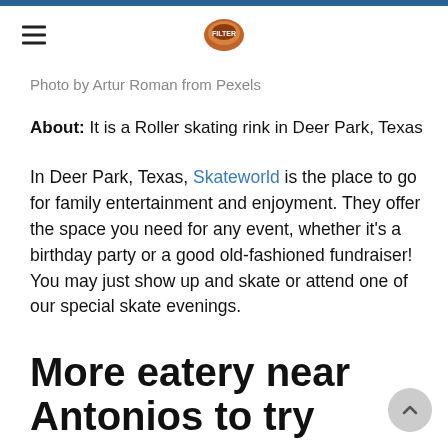≡ [logo]
Photo by Artur Roman from Pexels
About: It is a Roller skating rink in Deer Park, Texas
In Deer Park, Texas, Skateworld is the place to go for family entertainment and enjoyment. They offer the space you need for any event, whether it's a birthday party or a good old-fashioned fundraiser! You may just show up and skate or attend one of our special skate evenings.
More eatery near Antonios to try